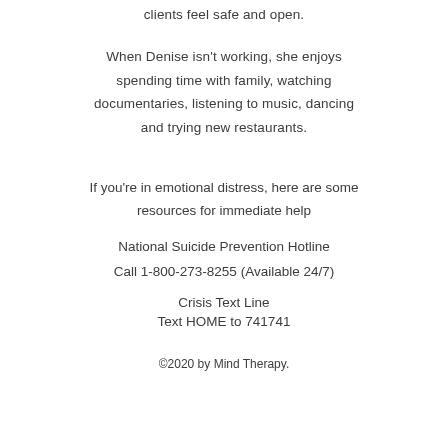clients feel safe and open.
When Denise isn't working, she enjoys spending time with family, watching documentaries, listening to music, dancing and trying new restaurants.
If you're in emotional distress, here are some resources for immediate help
National Suicide Prevention Hotline
Call 1-800-273-8255 (Available 24/7)
Crisis Text Line
Text HOME to 741741
©2020 by Mind Therapy.